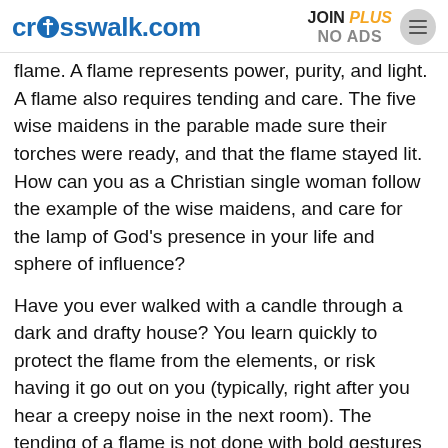crosswalk.com | JOIN PLUS NO ADS
flame. A flame represents power, purity, and light. A flame also requires tending and care. The five wise maidens in the parable made sure their torches were ready, and that the flame stayed lit. How can you as a Christian single woman follow the example of the wise maidens, and care for the lamp of God's presence in your life and sphere of influence?
Have you ever walked with a candle through a dark and drafty house? You learn quickly to protect the flame from the elements, or risk having it go out on you (typically, right after you hear a creepy noise in the next room). The tending of a flame is not done with bold gestures or impulsive activity, for as strong as fire can rage, it can also flicker and fade. Tending a flame requires patience, attention to detail, and a wisdom to know that the stronger the flame, the farther the light will push back the